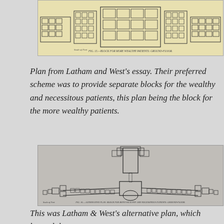[Figure (engineering-diagram): Architectural floor plan (ground floor) of a block for more wealthy patients, showing a curved/rectangular layout with multiple rooms, from Latham and West's essay. Caption reads: FIG. 15.—BLOCK FOR MORE WEALTHY PATIENTS: GROUND-FLOOR.]
FIG. 15.—BLOCK FOR MORE WEALTHY PATIENTS: GROUND-FLOOR.
Plan from Latham and West's essay. Their preferred scheme was to provide separate blocks for the wealthy and necessitous patients, this plan being the block for the more wealthy patients.
[Figure (engineering-diagram): Architectural floor plan showing Latham & West's alternative plan, a large spread-out building with a central block and radiating wings, housing the wealthy and necessitous patients together in Holloway. Bottom text partially visible.]
This was Latham & West's alternative plan, which housed the wealthy and necessitous patients together in Holloway. But the larger